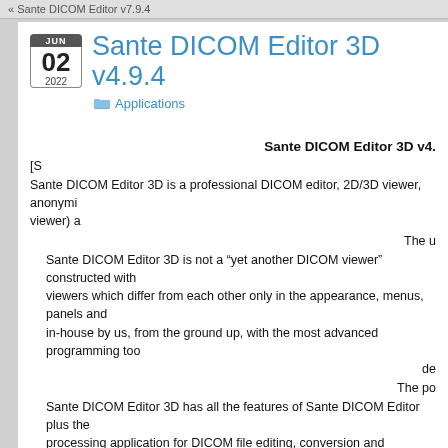« Sante DICOM Editor v7.9.4
Sante DICOM Editor 3D v4.9.4
Applications
Sante DICOM Editor 3D v4.
Sante DICOM Editor 3D is a professional DICOM editor, 2D/3D viewer, anonymi... viewer) a
The u
Sante DICOM Editor 3D is not a “yet another DICOM viewer” constructed with viewers which differ from each other only in the appearance, menus, panels and in-house by us, from the ground up, with the most advanced programming too de
The po
Sante DICOM Editor 3D has all the features of Sante DICOM Editor plus the processing application for DICOM file editing, conversion and handling, it is use the DICOM editor of choice of the greatest universities and hospitals of the wo attributes, and even edit a